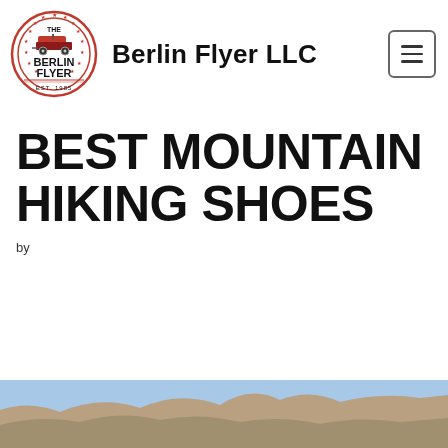[Figure (logo): The Berlin Flyer circular logo with red wagon, stars, and EST. 1985 text]
Berlin Flyer LLC
BEST MOUNTAIN HIKING SHOES
by
[Figure (photo): Partial photo of person hiking on rocky mountain terrain, visible at bottom of page]